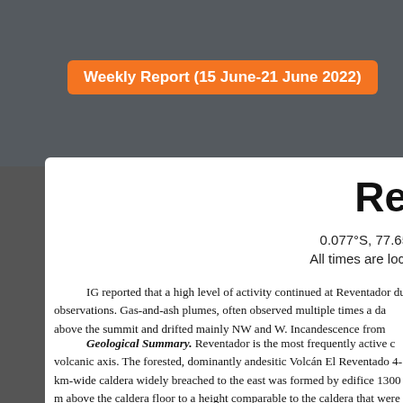Weekly Report (15 June-21 June 2022)
Re
0.077°S, 77.65
All times are loc
IG reported that a high level of activity continued at Reventador du observations. Gas-and-ash plumes, often observed multiple times a da above the summit and drifted mainly NW and W. Incandescence from
Geological Summary. Reventador is the most frequently active c volcanic axis. The forested, dominantly andesitic Volcán El Reventado 4-km-wide caldera widely breached to the east was formed by edifice 1300 m above the caldera floor to a height comparable to the caldera that were visible from Quito in historical time. Frequent lahars in this re caldera. The largest historical eruption took place in 2002, producing a flows from summit and flank vents.